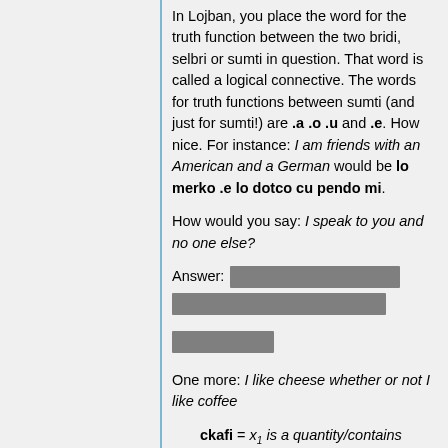In Lojban, you place the word for the truth function between the two bridi, selbri or sumti in question. That word is called a logical connective. The words for truth functions between sumti (and just for sumti!) are .a .o .u and .e. How nice. For instance: I am friends with an American and a German would be lo merko .e lo dotco cu pendo mi.
How would you say: I speak to you and no one else?
Answer: [redacted answer box]
One more: I like cheese whether or not I like coffee
ckafi = x1 is a quantity/contains coffee from source/of grain x2
Answer: [redacted answer box]